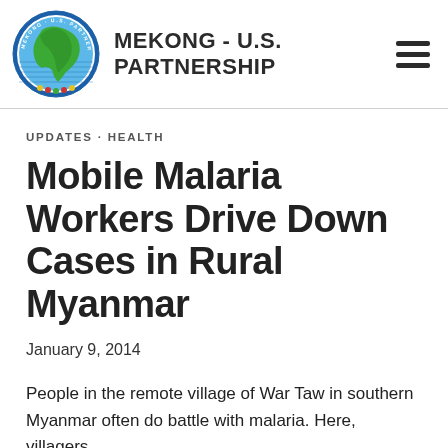[Figure (logo): Mekong - U.S. Partnership circular logo with map of Southeast Asia in blue and green]
MEKONG - U.S. PARTNERSHIP
UPDATES • HEALTH
Mobile Malaria Workers Drive Down Cases in Rural Myanmar
January 9, 2014
People in the remote village of War Taw in southern Myanmar often do battle with malaria. Here, villagers